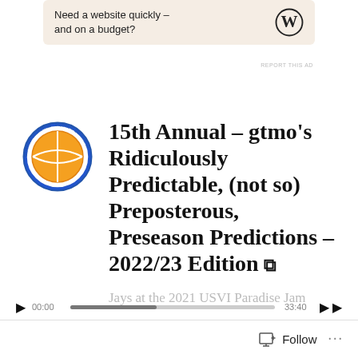[Figure (illustration): WordPress advertisement banner with text 'Need a website quickly – and on a budget?' and WordPress logo on beige background]
REPORT THIS AD
[Figure (logo): Basketball logo with orange basketball and blue circular text reading 'bluenote basketball']
15th Annual – gtmo's Ridiculously Predictable, (not so) Preposterous, Preseason Predictions – 2022/23 Edition ⊕
Jays at the 2021 USVI Paradise Jam
[Figure (other): Audio player bar with play button, timestamp 00:00, progress bar, end time 33:40, and skip buttons]